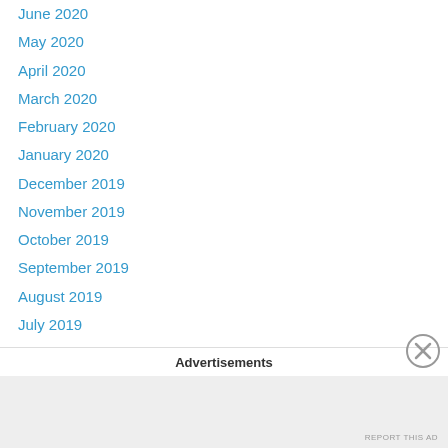June 2020
May 2020
April 2020
March 2020
February 2020
January 2020
December 2019
November 2019
October 2019
September 2019
August 2019
July 2019
June 2019
May 2019
April 2019
March 2019
Advertisements
REPORT THIS AD